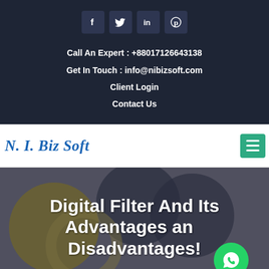[Figure (other): Social media icon buttons for Facebook, Twitter, LinkedIn, and Pinterest on dark background]
Call An Expert : +88017126643138
Get In Touch : info@nibizsoft.com
Client Login
Contact Us
N. I. Biz Soft
Digital Filter And Its Advantages and Disadvantages!